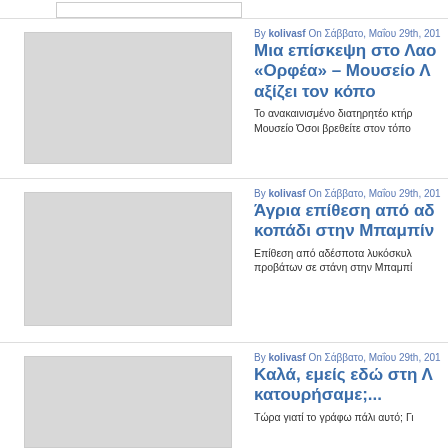By kolivasf On Σάββατο, Μαΐου 29th, 201...
Μια επίσκεψη στο Λα... «Ορφέα» – Μουσείο Λ... αξίζει τον κόπο
Το ανακαινισμένο διατηρητέο κτήρ... Μουσείο Όσοι βρεθείτε στον τόπο...
[Figure (photo): Thumbnail image placeholder for article 1]
By kolivasf On Σάββατο, Μαΐου 29th, 201...
Άγρια επίθεση από αδ... κοπάδι στην Μπαμπίν...
Επίθεση από αδέσποτα λυκόσκυλ... προβάτων σε στάνη στην Μπαμπί...
[Figure (photo): Thumbnail image placeholder for article 2]
By kolivasf On Σάββατο, Μαΐου 29th, 201...
Καλά, εμείς εδώ στη Λ... κατουρήσαμε;...
Τώρα γιατί το γράφω πάλι αυτό; Γι...
[Figure (photo): Thumbnail image placeholder for article 3]